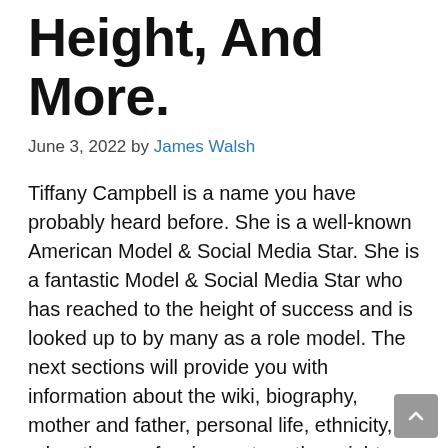Height, And More.
June 3, 2022 by James Walsh
Tiffany Campbell is a name you have probably heard before. She is a well-known American Model & Social Media Star. She is a fantastic Model & Social Media Star who has reached to the height of success and is looked up to by many as a role model. The next sections will provide you with information about the wiki, biography, mother and father, personal life, ethnicity, education, profession, net worth, weight, height, hometown, religion, spouse, physical appearance, and other relevant details of Tiffany Campbell. You will learn more about her by reading this article.